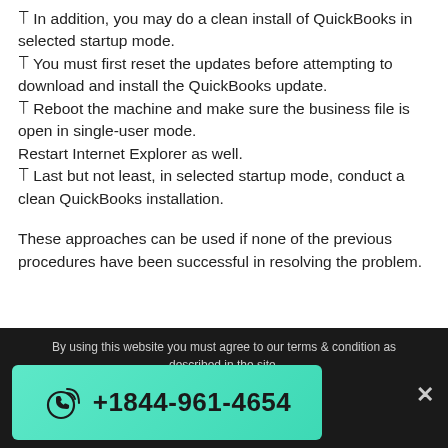❑ In addition, you may do a clean install of QuickBooks in selected startup mode.
❑ You must first reset the updates before attempting to download and install the QuickBooks update.
❑ Reboot the machine and make sure the business file is open in single-user mode. Restart Internet Explorer as well.
❑ Last but not least, in selected startup mode, conduct a clean QuickBooks installation.
These approaches can be used if none of the previous procedures have been successful in resolving the problem.
By using this website you must agree to our terms & condition as described in the site.
+1844-961-4654